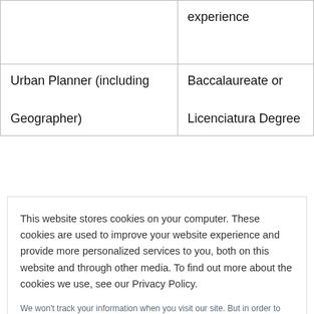|  | experience |
| Urban Planner (including Geographer) | Baccalaureate or Licenciatura Degree |
This website stores cookies on your computer. These cookies are used to improve your website experience and provide more personalized services to you, both on this website and through other media. To find out more about the cookies we use, see our Privacy Policy.
We won't track your information when you visit our site. But in order to comply with your preferences, we'll have to use just one tiny cookie so that you're not asked to make this choice again.